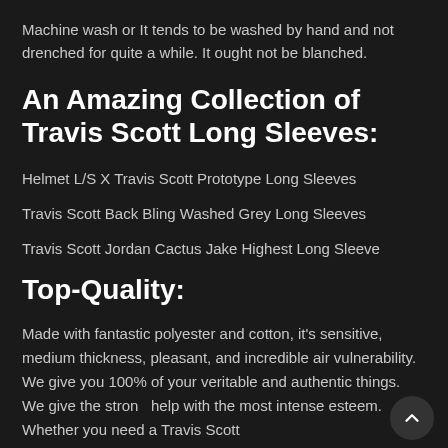Machine wash or It tends to be washed by hand and not drenched for quite a while. It ought not be blanched.
An Amazing Collection of Travis Scott Long Sleeves:
Helmet L/S X Travis Scott Prototype Long Sleeves
Travis Scott Back Bling Washed Grey Long Sleeves
Travis Scott Jordan Cactus Jake Highest Long Sleeve
Top-Quality:
Made with fantastic polyester and cotton, it's sensitive, medium thickness, pleasant, and incredible air vulnerability. We give you 100% of your veritable and authentic things. We give the stron help with the most intense esteem. Whether you need a Travis Scott